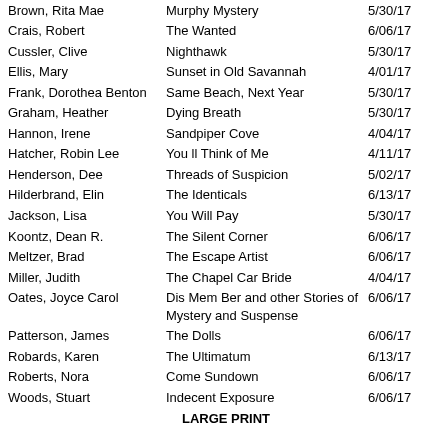| Author | Title | Date |
| --- | --- | --- |
| Brown, Rita Mae | Murphy Mystery | 5/30/17 |
| Crais, Robert | The Wanted | 6/06/17 |
| Cussler, Clive | Nighthawk | 5/30/17 |
| Ellis, Mary | Sunset in Old Savannah | 4/01/17 |
| Frank, Dorothea Benton | Same Beach, Next Year | 5/30/17 |
| Graham, Heather | Dying Breath | 5/30/17 |
| Hannon, Irene | Sandpiper Cove | 4/04/17 |
| Hatcher, Robin Lee | You ll Think of Me | 4/11/17 |
| Henderson, Dee | Threads of Suspicion | 5/02/17 |
| Hilderbrand, Elin | The Identicals | 6/13/17 |
| Jackson, Lisa | You Will Pay | 5/30/17 |
| Koontz, Dean R. | The Silent Corner | 6/06/17 |
| Meltzer, Brad | The Escape Artist | 6/06/17 |
| Miller, Judith | The Chapel Car Bride | 4/04/17 |
| Oates, Joyce Carol | Dis Mem Ber and other Stories of Mystery and Suspense | 6/06/17 |
| Patterson, James | The Dolls | 6/06/17 |
| Robards, Karen | The Ultimatum | 6/13/17 |
| Roberts, Nora | Come Sundown | 6/06/17 |
| Woods, Stuart | Indecent Exposure | 6/06/17 |
LARGE PRINT